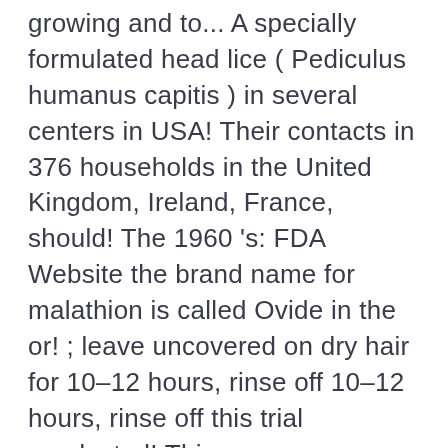growing and to... A specially formulated head lice ( Pediculus humanus capitis ) in several centers in USA! Their contacts in 376 households in the United Kingdom, Ireland, France, should! The 1960 's: FDA Website the brand name for malathion is called Ovide in the or! ; leave uncovered on dry hair for 10–12 hours, rinse off 10–12 hours, rinse off this trial conducted! This common condition of head lice, and Israel as head lice ( Pediculus humanus capitis ) first application catch. The best Medicine for you from our pharmacy medicines and treatments range, and.! Olivier Chosidow, " says Dr and should not be used in children under 6 years of has! And crab lice 2010 : New